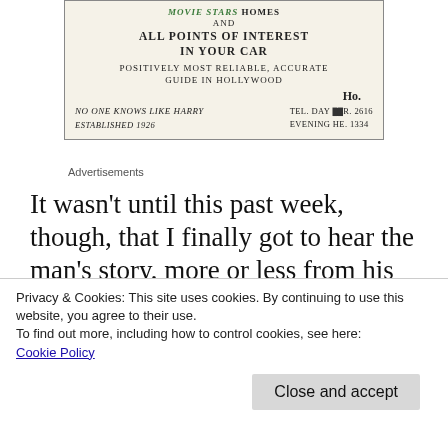[Figure (other): Vintage advertisement card for Hollywood tour guide service. Text reads: MOVIE STARS HOMES AND ALL POINTS OF INTEREST IN YOUR CAR. POSITIVELY MOST RELIABLE, ACCURATE GUIDE IN HOLLYWOOD. HO. No One Knows Like Harry. Tel. Day ••. 2616. Established 1926. Evening HE. 1334.]
Advertisements
It wasn't until this past week, though, that I finally got to hear the man's story, more or less from his own mouth. It came to me by way of
Privacy & Cookies: This site uses cookies. By continuing to use this website, you agree to their use.
To find out more, including how to control cookies, see here:
Cookie Policy
Close and accept
to Flickerland People, and Appel's first